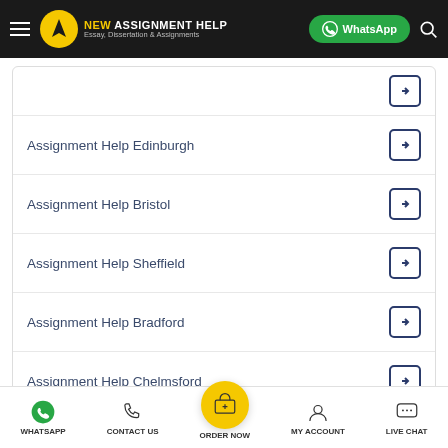NEW ASSIGNMENT HELP — Essay, Dissertation & Assignments
Assignment Help Edinburgh
Assignment Help Bristol
Assignment Help Sheffield
Assignment Help Bradford
Assignment Help Chelmsford
Your Paper Will Include
WHATSAPP  CONTACT US  ORDER NOW  MY ACCOUNT  LIVE CHAT